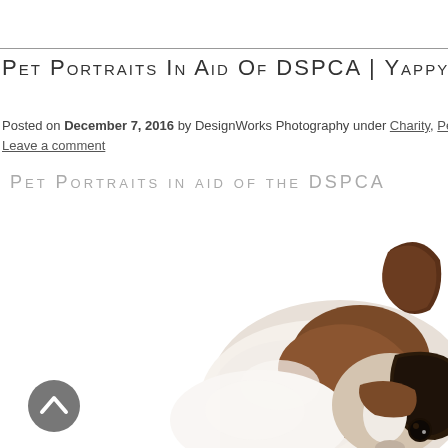Pet Portraits in aid of DSPCA | Yappy Hour! 201
Posted on December 7, 2016 by DesignWorks Photography under Charity, Pe
Leave a comment
Pet Portraits in aid of the DSPCA
[Figure (photo): Close-up photo of a Jack Russell terrier puppy on a white background, showing the dog's back with its tail raised and its face turned toward the camera, with brown and white fur markings.]